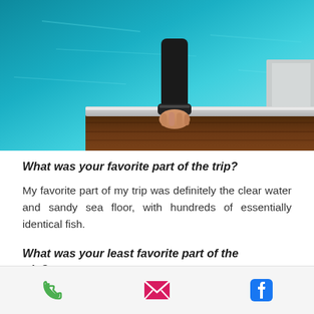[Figure (photo): Photo of a hand gripping the edge of a wooden boat deck or dock with clear teal/turquoise water in the background]
What was your favorite part of the trip?
My favorite part of my trip was definitely the clear water and sandy sea floor, with hundreds of essentially identical fish.
What was your least favorite part of the trip?
My least favorite part of the trip was walking to the airport at four in the morning
What surprised you most?
Phone | Email | Facebook icons